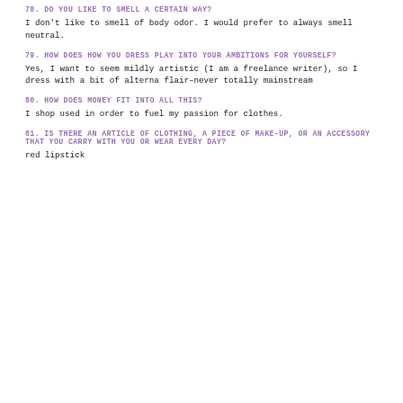78. DO YOU LIKE TO SMELL A CERTAIN WAY?
I don't like to smell of body odor. I would prefer to always smell neutral.
79. HOW DOES HOW YOU DRESS PLAY INTO YOUR AMBITIONS FOR YOURSELF?
Yes, I want to seem mildly artistic (I am a freelance writer), so I dress with a bit of alterna flair–never totally mainstream
80. HOW DOES MONEY FIT INTO ALL THIS?
I shop used in order to fuel my passion for clothes.
81. IS THERE AN ARTICLE OF CLOTHING, A PIECE OF MAKE-UP, OR AN ACCESSORY THAT YOU CARRY WITH YOU OR WEAR EVERY DAY?
red lipstick